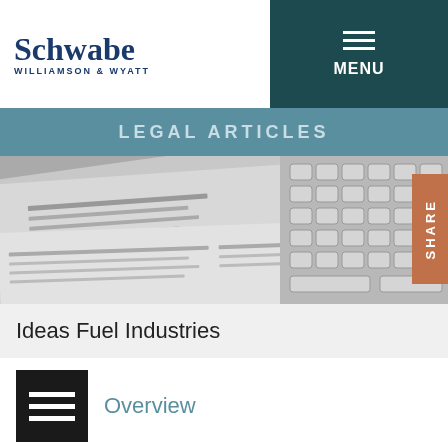Schwabe WILLIAMSON & WYATT | MENU
LEGAL ARTICLES
[Figure (photo): Newspaper and keyboard hero image with a SHARE button on the right side]
Ideas Fuel Industries
Overview
Are You Including a Mediation Provision in Your